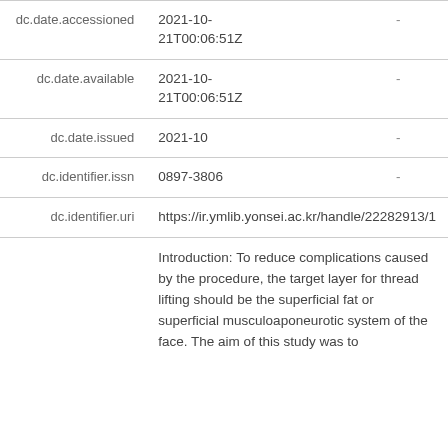| Field | Value | Extra |
| --- | --- | --- |
| dc.date.accessioned | 2021-10-21T00:06:51Z | - |
| dc.date.available | 2021-10-21T00:06:51Z | - |
| dc.date.issued | 2021-10 | - |
| dc.identifier.issn | 0897-3806 | - |
| dc.identifier.uri | https://ir.ymlib.yonsei.ac.kr/handle/22282913/1 |  |
|  | Introduction: To reduce complications caused by the procedure, the target layer for thread lifting should be the superficial fat or superficial musculoaponeurotic system of the face. The aim of this study was to |  |